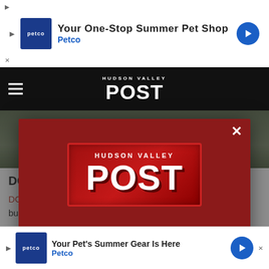[Figure (screenshot): Top Petco advertisement banner: 'Your One-Stop Summer Pet Shop' with Petco logo and navigation icon]
HUDSON VALLEY POST
[Figure (screenshot): Background page content showing outdoor sports facility image]
DC Sports
DC Sports, located on Rt. 9 in Wappingers Falls, is home to bumpe... , sand ...
[Figure (screenshot): Modal popup with Hudson Valley Post logo on dark red background, close X button, download app prompt and GET OUR FREE MOBILE APP button]
[Figure (screenshot): Bottom Petco advertisement: Your Pet's Summer Gear Is Here with Petco logo]